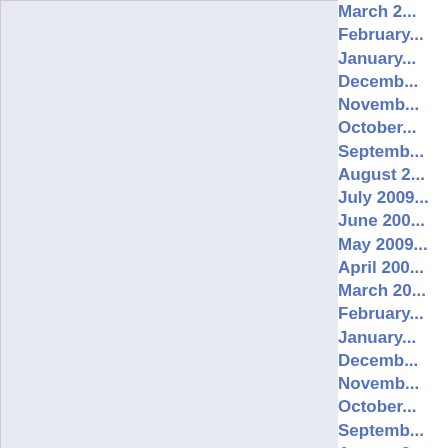March 2...
February...
January...
December...
November...
October...
September...
August 2...
July 2009...
June 200...
May 2009...
April 200...
March 20...
February...
January...
December...
November...
October...
September...
August 2...
July 2008...
June 200...
May 2008...
April 200...
March 20...
February...
January...
December...
November...
October...
September...
August 2...
July 200...